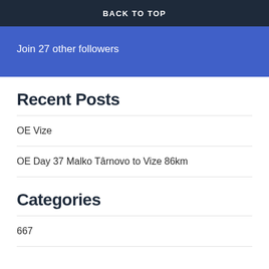BACK TO TOP
Join 27 other followers
Recent Posts
OE Vize
OE Day 37 Malko Târnovo to Vize 86km
Categories
667